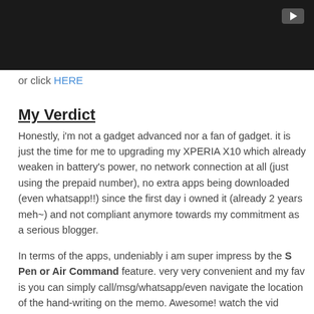[Figure (screenshot): Dark/black video thumbnail with a play button in the top-right corner]
or click HERE
My Verdict
Honestly, i'm not a gadget advanced nor a fan of gadget. it is just the time for me to upgrading my XPERIA X10 which already weaken in battery's power, no network connection at all (just using the prepaid number), no extra apps being downloaded (even whatsapp!!) since the first day i owned it (already 2 years meh~) and not compliant anymore towards my commitment as a serious blogger.
In terms of the apps, undeniably i am super impress by the S Pen or Air Command feature. very very convenient and my fav is you can simply call/msg/whatsapp/even navigate the location of the hand-writing on the memo. Awesome! watch the vid okeyhh. and yup, i am still exploring......tuttt tutt tutt
Flipboard, S note and Scrapbook are another apps that i have never been used before. well, with the additional func